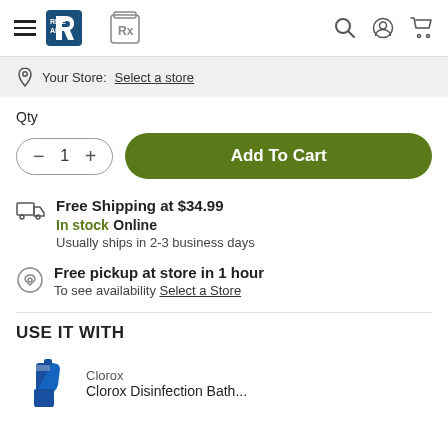Rite Aid navigation header with hamburger menu, logo, Rx icon, search, account, and cart icons
Your Store: Select a store
Qty
Add To Cart
Free Shipping at $34.99
In stock Online
Usually ships in 2-3 business days
Free pickup at store in 1 hour
To see availability Select a Store
USE IT WITH
Clorox
Clorox Disinfection Bath...